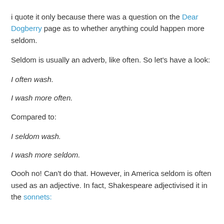i quote it only because there was a question on the Dear Dogberry page as to whether anything could happen more seldom.
Seldom is usually an adverb, like often. So let's have a look:
I often wash.
I wash more often.
Compared to:
I seldom wash.
I wash more seldom.
Oooh no! Can't do that. However, in America seldom is often used as an adjective. In fact, Shakespeare adjectivised it in the sonnets: